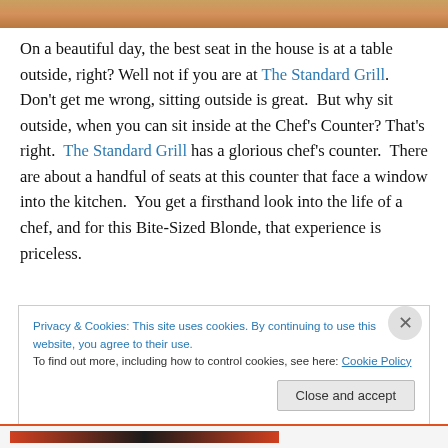[Figure (photo): Partial photo strip at top of page, warm tones]
On a beautiful day, the best seat in the house is at a table outside, right? Well not if you are at The Standard Grill. Don't get me wrong, sitting outside is great.  But why sit outside, when you can sit inside at the Chef's Counter? That's right.  The Standard Grill has a glorious chef's counter.  There are about a handful of seats at this counter that face a window into the kitchen.  You get a firsthand look into the life of a chef, and for this Bite-Sized Blonde, that experience is priceless.
Privacy & Cookies: This site uses cookies. By continuing to use this website, you agree to their use.
To find out more, including how to control cookies, see here: Cookie Policy
Close and accept